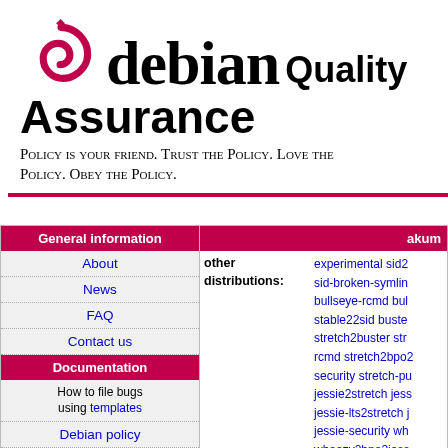[Figure (logo): Debian swirl logo in red]
debian Quality Assurance
Policy is your friend. Trust the Policy. Love the Policy. Obey the Policy.
| General information | akum... |
| --- | --- |
| About |  |
| News |  |
| FAQ |  |
| Contact us |  |
| Documentation | other distributions: experimental sid2... sid-broken-symlin... bullseye-rcmd bul... stable22sid buste... stretch2buster str... rcmd stretch2bpo2... security stretch-pu... jessie2stretch jess... jessie-lts2stretch j... jessie-security wh... wheezy2bpo2jess... squeeze2wheezy-... squeeze2bpo2wh... |
| How to file bugs using templates |  |
| Debian policy |  |
| piuparts.d.o configuration: |  |